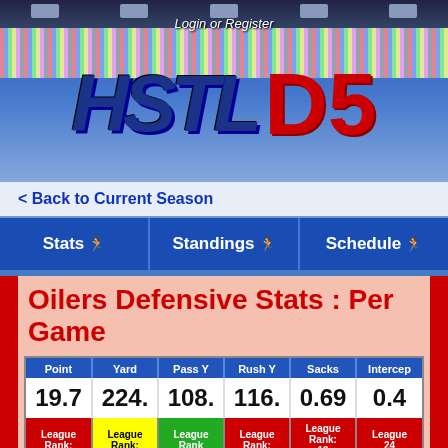Login or Register
[Figure (logo): HSTL D5 fantasy football league logo with stadium background and mascot]
< Back to Current Season
Stats | Standings | Schedule
Oilers Defensive Stats : Per Game
| Point | Yard | Pass Y | Rush Y | Sacks | Intercep |
| --- | --- | --- | --- | --- | --- |
| 19.7 | 224. | 108. | 116. | 0.69 | 0.4 |
| League Rank: . | League Rank: | League Rank: | League Rank: | League Rank: 19 | League 24 |